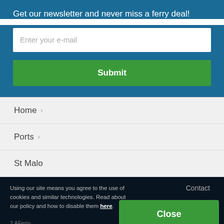Get our newsletter and never miss a ferry deal!
Enter your e-mail
Submit
Home
Ports
St Malo
Contact
Using our site means you agree to the use of cookies and similar technologies. Read about our policy and how to disable them here.
Close
2 AFerry